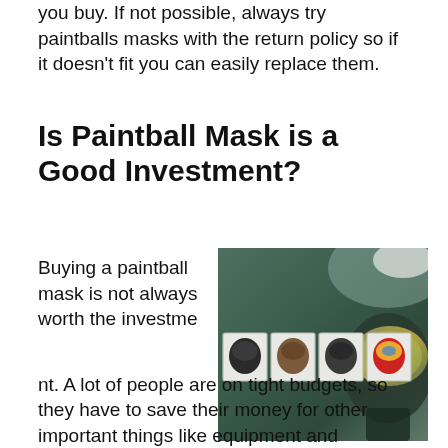you buy. If not possible, always try paintballs masks with the return policy so if it doesn't fit you can easily replace them.
Is Paintball Mask is a Good Investment?
Buying a paintball mask is not always worth the investment. A lot of people are on tight budgets, so they have to save their money for other important things like equipment and
[Figure (photo): Composite image showing various paintball masks with thumbnails of four different mask models overlaid on a larger image of a person wearing a full-face paintball mask with reflective visor, surrounded by outdoor paintball field scenery.]